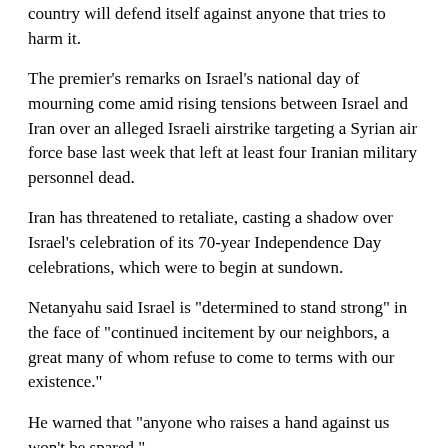country will defend itself against anyone that tries to harm it.
The premier's remarks on Israel's national day of mourning come amid rising tensions between Israel and Iran over an alleged Israeli airstrike targeting a Syrian air force base last week that left at least four Iranian military personnel dead.
Iran has threatened to retaliate, casting a shadow over Israel's celebration of its 70-year Independence Day celebrations, which were to begin at sundown.
Netanyahu said Israel is "determined to stand strong" in the face of "continued incitement by our neighbors, a great many of whom refuse to come to terms with our existence."
He warned that "anyone who raises a hand against us won't be spared."
Iran has been a major backer of Syrian President Bashar Assad in the seven-year Syrian civil war, providing the Assad government with troops, arms and militiamen.
Israel has repeatedly argued that it will take action to...